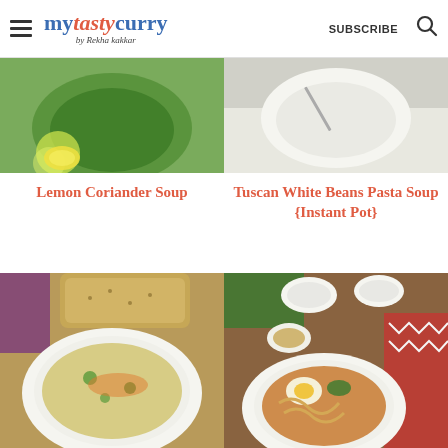mytastycurry by Rekha kakkar | SUBSCRIBE
[Figure (photo): Green bowl of lemon coriander soup with lemon slices]
[Figure (photo): White bowl of Tuscan white beans pasta soup]
Lemon Coriander Soup
Tuscan White Beans Pasta Soup {Instant Pot}
[Figure (photo): Bowl of cheesy broccoli soup with bread dipping]
[Figure (photo): Asian soup with egg, noodles, greens and bowls of ingredients on wooden table]